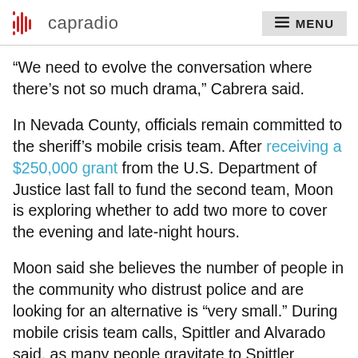capradio  MENU
“We need to evolve the conversation where there’s not so much drama,” Cabrera said.
In Nevada County, officials remain committed to the sheriff’s mobile crisis team. After receiving a $250,000 grant from the U.S. Department of Justice last fall to fund the second team, Moon is exploring whether to add two more to cover the evening and late-night hours.
Moon said she believes the number of people in the community who distrust police and are looking for an alternative is “very small.” During mobile crisis team calls, Spittler and Alvarado said, as many people gravitate to Spittler because of his uniform as consider his alternatives, something to do with